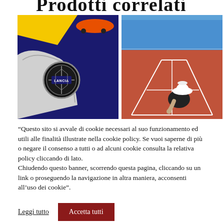Prodotti correlati
[Figure (illustration): Stylized Lancia car advertisement illustration showing the Lancia logo badge in the foreground with an orange sports car and yellow streak on a blue background.]
[Figure (illustration): Stylized illustration of a tennis court viewed from above, with red clay court, white lines, and a figure in white hat and black clothing bending down.]
“Questo sito si avvale di cookie necessari al suo funzionamento ed utili alle finalità illustrate nella cookie policy. Se vuoi saperne di più o negare il consenso a tutti o ad alcuni cookie consulta la relativa policy cliccando di lato.
Chiudendo questo banner, scorrendo questa pagina, cliccando su un link o proseguendo la navigazione in altra maniera, acconsenti all’uso dei cookie”.
Leggi tutto
Accetta tutti